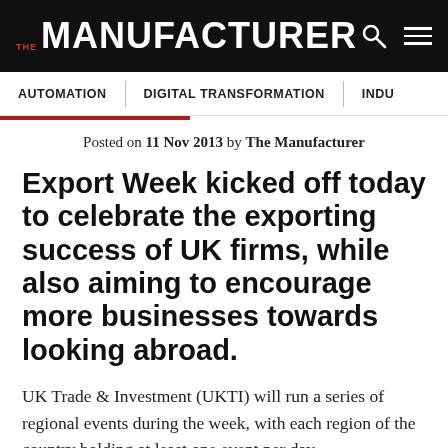THE MANUFACTURER
AUTOMATION   DIGITAL TRANSFORMATION   INDU
Posted on 11 Nov 2013 by The Manufacturer
Export Week kicked off today to celebrate the exporting success of UK firms, while also aiming to encourage more businesses towards looking abroad.
UK Trade & Investment (UKTI) will run a series of regional events during the week, with each region of the country holding at least one event per day.